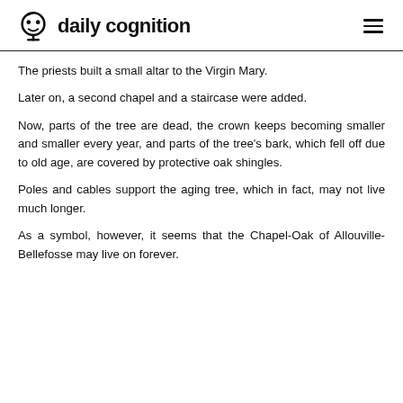daily cognition
The priests built a small altar to the Virgin Mary.
Later on, a second chapel and a staircase were added.
Now, parts of the tree are dead, the crown keeps becoming smaller and smaller every year, and parts of the tree's bark, which fell off due to old age, are covered by protective oak shingles.
Poles and cables support the aging tree, which in fact, may not live much longer.
As a symbol, however, it seems that the Chapel-Oak of Allouville-Bellefosse may live on forever.